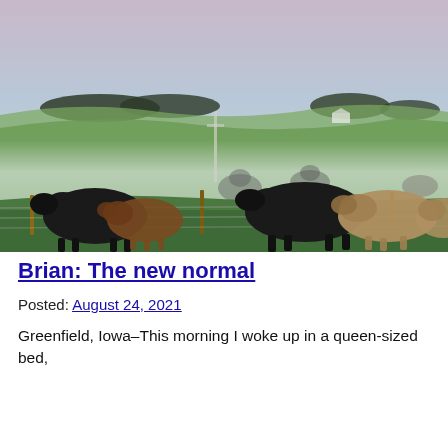[Figure (photo): Cattle standing in a misty green pasture at dawn. Multiple cows are visible along a fence line in the foreground, including a black Angus and tan/brown cattle. In the background, rolling green hills and trees are partially obscured by low-lying fog. The sky is pale gray-pink.]
Brian: The new normal
Posted: August 24, 2021
Greenfield, Iowa–This morning I woke up in a queen-sized bed,